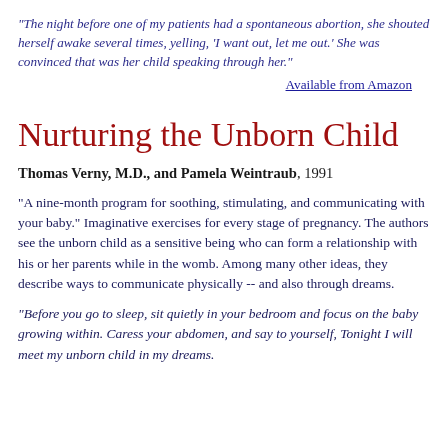"The night before one of my patients had a spontaneous abortion, she shouted herself awake several times, yelling, 'I want out, let me out.' She was convinced that was her child speaking through her."
Available from Amazon
Nurturing the Unborn Child
Thomas Verny, M.D., and Pamela Weintraub, 1991
"A nine-month program for soothing, stimulating, and communicating with your baby." Imaginative exercises for every stage of pregnancy. The authors see the unborn child as a sensitive being who can form a relationship with his or her parents while in the womb. Among many other ideas, they describe ways to communicate physically -- and also through dreams.
"Before you go to sleep, sit quietly in your bedroom and focus on the baby growing within. Caress your abdomen, and say to yourself, Tonight I will meet my unborn child in my dreams.